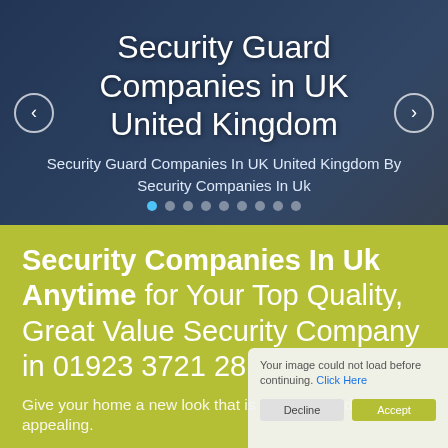[Figure (photo): Hero banner with dark-suited security guard in background, with overlay title text about Security Guard Companies in UK United Kingdom]
Security Guard Companies in UK United Kingdom
Security Guard Companies In UK United Kingdom By Security Companies In Uk
Security Companies In Uk Anytime for Your Top Quality, Great Value Security Company in 01923 3721 28
Give your home a new look that is attractive and appealing.